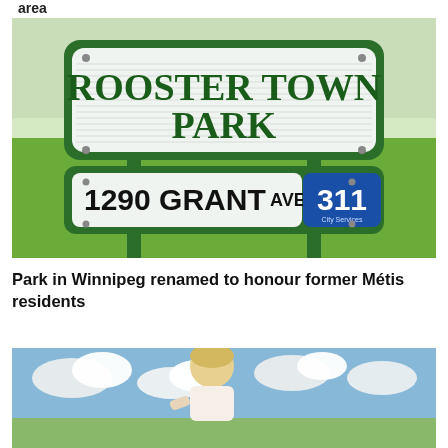area
[Figure (photo): A green park sign reading 'ROOSTER TOWN PARK' with address '1290 GRANT AVE' and a blue '311 City Services' badge, mounted on green metal poles with grass and people in the background.]
Park in Winnipeg renamed to honour former Métis residents
[Figure (photo): A person photographed outdoors against a blue sky with clouds.]